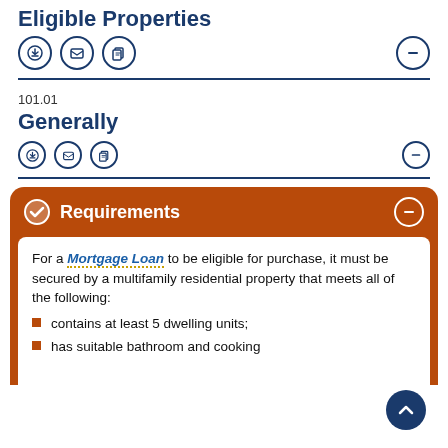Eligible Properties
[Figure (other): Row of icon buttons: download, email, copy on left; minus/collapse on right]
101.01
Generally
[Figure (other): Row of icon buttons: download, email, copy on left; minus/collapse on right]
Requirements
For a Mortgage Loan to be eligible for purchase, it must be secured by a multifamily residential property that meets all of the following:
contains at least 5 dwelling units;
has suitable bathroom and cooking